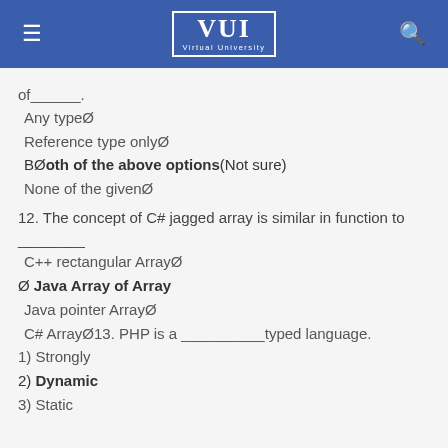Virtual University
of________.
Any typeØ
Reference type onlyØ
BØoth of the above options(Not sure)
None of the givenØ
12. The concept of C# jagged array is similar in function to ________
C++ rectangular ArrayØ
Ø Java Array of Array
Java pointer ArrayØ
C# ArrayØ13. PHP is a __________typed language.
1) Strongly
2) Dynamic
3) Static